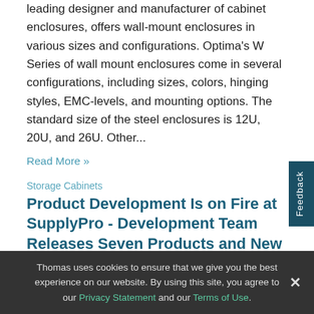leading designer and manufacturer of cabinet enclosures, offers wall-mount enclosures in various sizes and configurations. Optima's W Series of wall mount enclosures come in several configurations, including sizes, colors, hinging styles, EMC-levels, and mounting options. The standard size of the steel enclosures is 12U, 20U, and 26U. Other...
Read More »
Storage Cabinets
Product Development Is on Fire at SupplyPro - Development Team Releases Seven Products and New Device Platform in 9 Months
Record Number of Product Introductions Driven by Increased Customer and Partner Demand SupplyPro, the
Thomas uses cookies to ensure that we give you the best experience on our website. By using this site, you agree to our Privacy Statement and our Terms of Use.